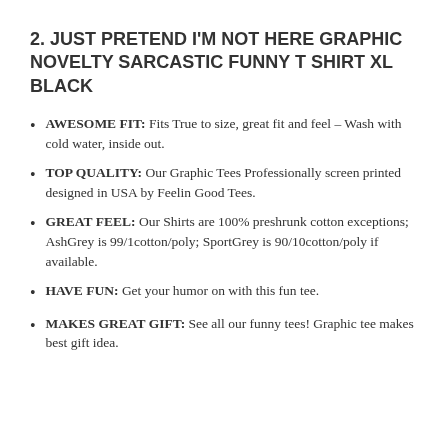2. JUST PRETEND I'M NOT HERE GRAPHIC NOVELTY SARCASTIC FUNNY T SHIRT XL BLACK
AWESOME FIT: Fits True to size, great fit and feel – Wash with cold water, inside out.
TOP QUALITY: Our Graphic Tees Professionally screen printed designed in USA by Feelin Good Tees.
GREAT FEEL: Our Shirts are 100% preshrunk cotton exceptions; AshGrey is 99/1cotton/poly; SportGrey is 90/10cotton/poly if available.
HAVE FUN: Get your humor on with this fun tee.
MAKES GREAT GIFT: See all our funny tees! Graphic tee makes best gift idea.